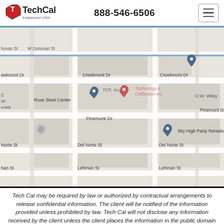TechCal 888-546-6506
[Figure (map): Google Maps street map showing the area around Technology & Calibration Inc., including nearby businesses: OM Industrial Products Corporation, Rose Steel Center, TCR Inc., Sky High Party Rentals, O.W. Wiley. Streets visible include Creekmont Dr, Pinemont Dr, Del Norte St, Lehman St. Map pins mark multiple business locations.]
Tech Cal may be required by law or authorized by contractual arrangements to release confidential information. The client will be notified of the information provided unless prohibited by law. Tech Cal will not disclose any information received by the client unless the client places the information in the public domain or agrees to the disclosure to others.